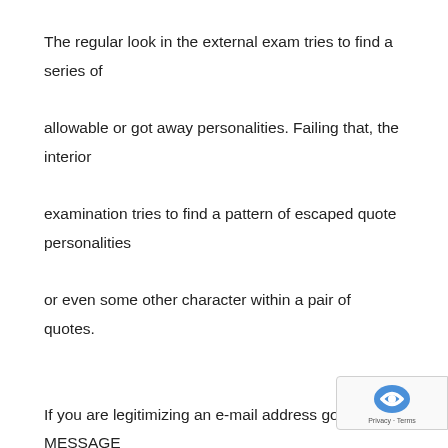The regular look in the external exam tries to find a series of allowable or got away personalities. Failing that, the interior examination tries to find a pattern of escaped quote personalities or even some other character within a pair of quotes.

If you are legitimizing an e-mail address got in as MESSAGE information, whichis actually very likely, you need to beware about input that contains back-slash(\), single-quote (') or even double-quote personalities ("). PHP may or even may certainly not get away from those characters along withan extra back-slashcharacter anywhere they develop in POST records. The title for this action is...